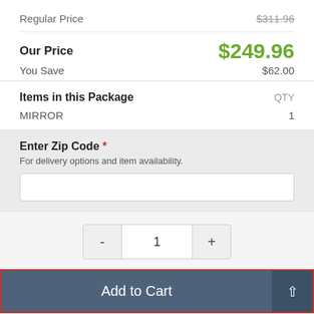Regular Price  $311.96
Our Price  $249.96
You Save  $62.00
Items in this Package  QTY
MIRROR  1
Enter Zip Code * For delivery options and item availability.
- 1 +
Add to Cart